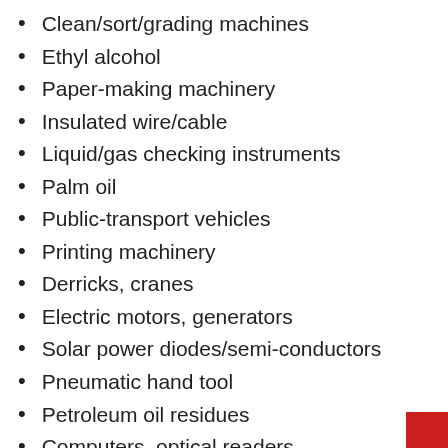Clean/sort/grading machines
Ethyl alcohol
Paper-making machinery
Insulated wire/cable
Liquid/gas checking instruments
Palm oil
Public-transport vehicles
Printing machinery
Derricks, cranes
Electric motors, generators
Solar power diodes/semi-conductors
Pneumatic hand tool
Petroleum oil residues
Computers, optical readers
Artificial filament tow
Agricultural/forestry machinery
Other food preparations